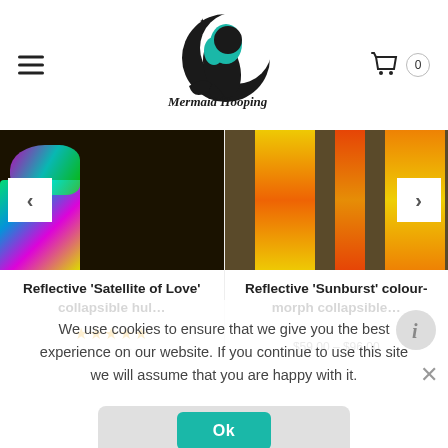[Figure (logo): Mermaid Hooping logo - circular design with mermaid silhouette and text 'Mermaid Hooping']
[Figure (photo): Left product carousel image showing holographic/reflective hoop tape with rainbow colors on dark background, with left navigation arrow]
Reflective 'Satellite of Love' collapsible hul…
[Figure (photo): Right product carousel image showing reflective sunburst colour-morph hoop tape with orange/yellow streaks on wood background, with right navigation arrow]
Reflective 'Sunburst' colour-morph collapsible…
★★★★★
$59.00 – $96.00
We use cookies to ensure that we give you the best experience on our website. If you continue to use this site we will assume that you are happy with it.
Ok